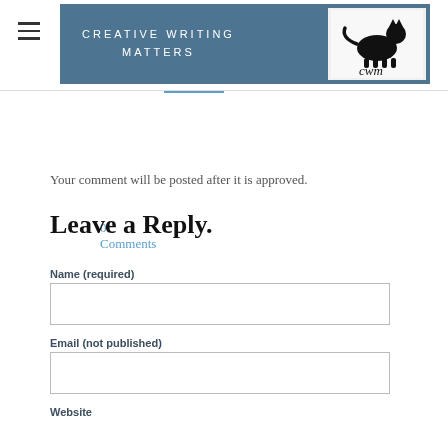CREATIVE WRITING MATTERS
0 Comments
Your comment will be posted after it is approved.
Leave a Reply.
Name (required)
Email (not published)
Website